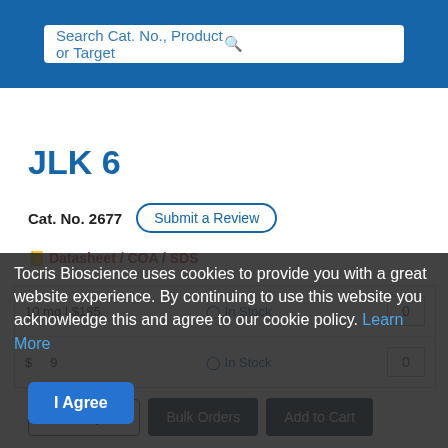Search Cat. No., Product or Target
JLK 6
Cat. No. 2677   Submit a Review
Datasheet / COA / SDS
Tocris Bioscience uses cookies to provide you with a great website experience. By continuing to use this website you acknowledge this and agree to our cookie policy. Learn More
I Agree
10 mg | $185   In Stock   0
$  9   In Stock   0
Print Quote   Bulk Orders   Add to Cart